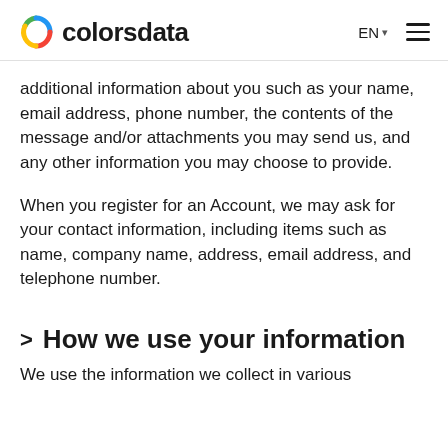colorsdata EN
additional information about you such as your name, email address, phone number, the contents of the message and/or attachments you may send us, and any other information you may choose to provide.
When you register for an Account, we may ask for your contact information, including items such as name, company name, address, email address, and telephone number.
> How we use your information
We use the information we collect in various